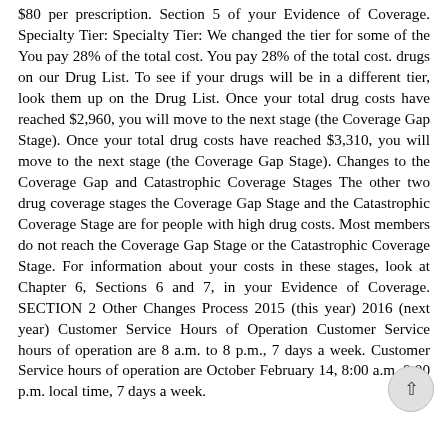$80 per prescription. Section 5 of your Evidence of Coverage. Specialty Tier: Specialty Tier: We changed the tier for some of the You pay 28% of the total cost. You pay 28% of the total cost. drugs on our Drug List. To see if your drugs will be in a different tier, look them up on the Drug List. Once your total drug costs have reached $2,960, you will move to the next stage (the Coverage Gap Stage). Once your total drug costs have reached $3,310, you will move to the next stage (the Coverage Gap Stage). Changes to the Coverage Gap and Catastrophic Coverage Stages The other two drug coverage stages the Coverage Gap Stage and the Catastrophic Coverage Stage are for people with high drug costs. Most members do not reach the Coverage Gap Stage or the Catastrophic Coverage Stage. For information about your costs in these stages, look at Chapter 6, Sections 6 and 7, in your Evidence of Coverage. SECTION 2 Other Changes Process 2015 (this year) 2016 (next year) Customer Service Hours of Operation Customer Service hours of operation are 8 a.m. to 8 p.m., 7 days a week. Customer Service hours of operation are October February 14, 8:00 a.m. 8:00 p.m. local time, 7 days a week.